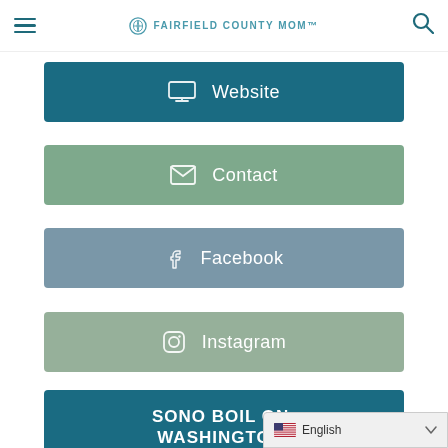FAIRFIELD COUNTY MOM
Website
Contact
Facebook
Instagram
SONO BOIL ON-WASHINGTON-
English